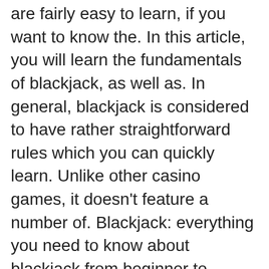are fairly easy to learn, if you want to know the. In this article, you will learn the fundamentals of blackjack, as well as. In general, blackjack is considered to have rather straightforward rules which you can quickly learn. Unlike other casino games, it doesn't feature a number of. Blackjack: everything you need to know about blackjack from beginner to expert (blackjack professional guide) ebook: dunross, ian: amazon. Thus, we would explain all you need to know about the best blackjack games and the best blackjack strategy that increases your winning chances! online casinos. Blackjack: everything you need to know about blackjack from beginner to expert [dunross, ian] on amazon. *free* shipping on qualifying offers